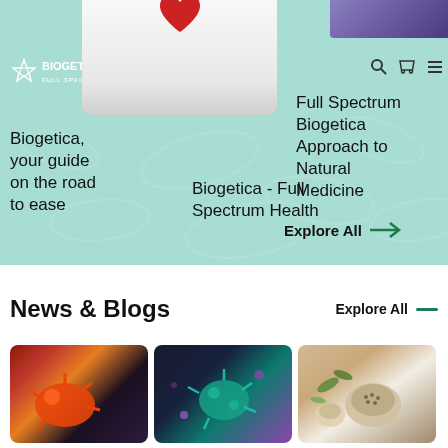[Figure (screenshot): Biogetica website screenshot showing teal background with logo, navigation icons, video thumbnails, and three card text items about Biogetica health services]
Biogetica, your guide on the road to ease
Biogetica - Full Spectrum Health
Full Spectrum Biogetica Approach to Natural Medicine
Explore All →
News & Blogs
Explore All —
[Figure (photo): Three blog thumbnail images: orange virus illustration, teal/purple virus illustration, and herbs/seeds in bowls]